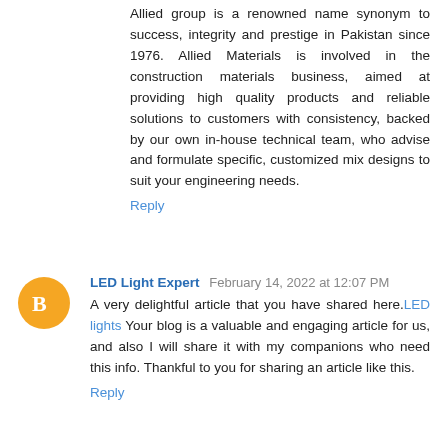Allied group is a renowned name synonym to success, integrity and prestige in Pakistan since 1976. Allied Materials is involved in the construction materials business, aimed at providing high quality products and reliable solutions to customers with consistency, backed by our own in-house technical team, who advise and formulate specific, customized mix designs to suit your engineering needs.
Reply
LED Light Expert  February 14, 2022 at 12:07 PM
A very delightful article that you have shared here. LED lights Your blog is a valuable and engaging article for us, and also I will share it with my companions who need this info. Thankful to you for sharing an article like this.
Reply
Robert steveson  February 17, 2022 at 11:00 AM
I generally check this kind of article and I found your article which is related to my interest. Garden Lighting Genuinely it